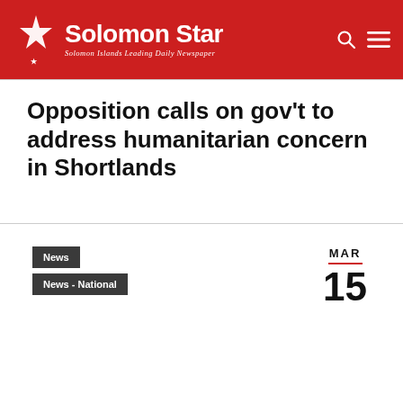Solomon Star — Solomon Islands Leading Daily Newspaper
Opposition calls on gov't to address humanitarian concern in Shortlands
News
News - National
MAR 15